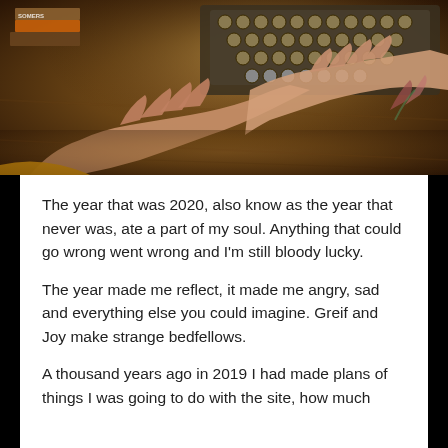[Figure (photo): Hands typing on a vintage typewriter, with books stacked in the background on a wooden surface. The scene has warm, dark tones.]
The year that was 2020, also know as the year that never was, ate a part of my soul. Anything that could go wrong went wrong and I'm still bloody lucky.
The year made me reflect, it made me angry, sad and everything else you could imagine. Greif and Joy make strange bedfellows.
A thousand years ago in 2019 I had made plans of things I was going to do with the site, how much